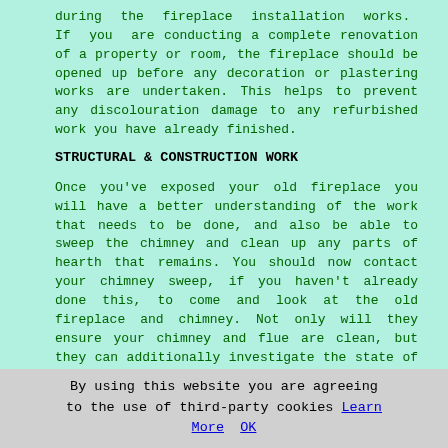during the fireplace installation works. If you are conducting a complete renovation of a property or room, the fireplace should be opened up before any decoration or plastering works are undertaken. This helps to prevent any discolouration damage to any refurbished work you have already finished.
STRUCTURAL & CONSTRUCTION WORK
Once you've exposed your old fireplace you will have a better understanding of the work that needs to be done, and also be able to sweep the chimney and clean up any parts of hearth that remains. You should now contact your chimney sweep, if you haven't already done this, to come and look at the old fireplace and chimney. Not only will they ensure your chimney and flue are clean, but they can additionally investigate the state of the flue liner and existing chimney and provide advice about whether you need to replace any area of the chimney structure and flue.
[Figure (other): Call-to-action button with teal rounded rectangle background and bold red italic text reading CLICK HERE FOR A QUOTE >>]
By using this website you are agreeing to the use of third-party cookies Learn More OK